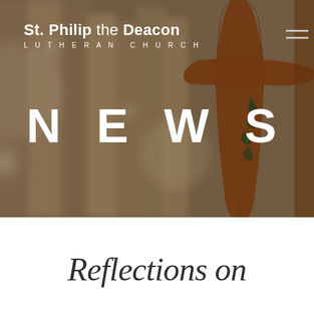[Figure (photo): Background photo of a blurred church interior with organ pipes and a wooden cross in the foreground on the right side. Warm brown and amber tones with bokeh lighting effects.]
St. Philip the Deacon LUTHERAN CHURCH
NEWS
Reflections on